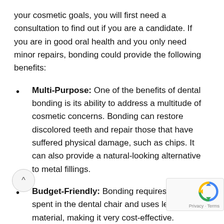your cosmetic goals, you will first need a consultation to find out if you are a candidate. If you are in good oral health and you only need minor repairs, bonding could provide the following benefits:
Multi-Purpose: One of the benefits of dental bonding is its ability to address a multitude of cosmetic concerns. Bonding can restore discolored teeth and repair those that have suffered physical damage, such as chips. It can also provide a natural-looking alternative to metal fillings.
Budget-Friendly: Bonding requires less time spent in the dental chair and uses less material, making it very cost-effective. Alternatives like crowns and veneers need to be custom-made from porcelain, so they take longer and can be